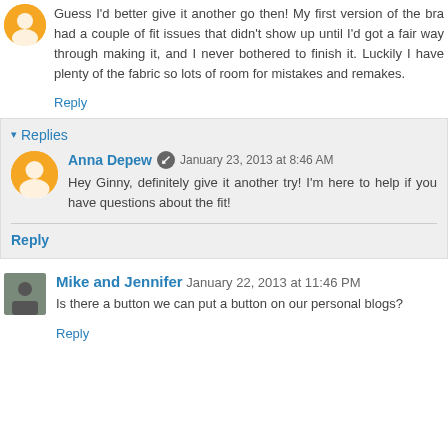Guess I'd better give it another go then! My first version of the bra had a couple of fit issues that didn't show up until I'd got a fair way through making it, and I never bothered to finish it. Luckily I have plenty of the fabric so lots of room for mistakes and remakes.
Reply
Replies
Anna Depew January 23, 2013 at 8:46 AM
Hey Ginny, definitely give it another try! I'm here to help if you have questions about the fit!
Reply
Mike and Jennifer January 22, 2013 at 11:46 PM
Is there a button we can put a button on our personal blogs?
Reply